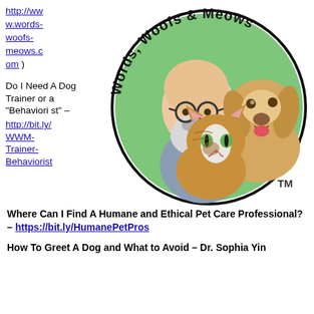http://www.words-woofs-meows.com )
[Figure (logo): Words, Woofs & Meows circular logo featuring a cartoon bald man with beard and glasses, a golden retriever dog, and an orange tabby cat, with 'Words, Woofs & Meows' text around the top and 'TM' mark]
Do I Need A Dog Trainer or a "Behaviorist" – http://bit.ly/WWM-Trainer-Behaviorist
Where Can I Find A Humane and Ethical Pet Care Professional? – https://bit.ly/HumanePetPros
How To Greet A Dog and What to Avoid – Dr. Sophia Yin